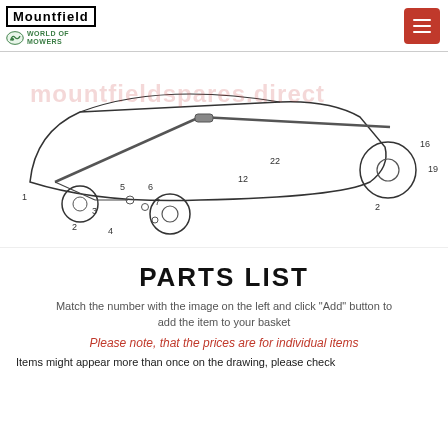Mountfield | World of Mowers
[Figure (engineering-diagram): Exploded parts diagram of a lawn mower showing numbered components including wheels, blade, chassis, and drive parts. Numbers visible: 1, 2, 3, 4, 5, 6, 7, 12, 16, 19, 22. Watermark text: mountfieldspares.direct]
PARTS LIST
Match the number with the image on the left and click "Add" button to add the item to your basket
Please note, that the prices are for individual items
Items might appear more than once on the drawing, please check